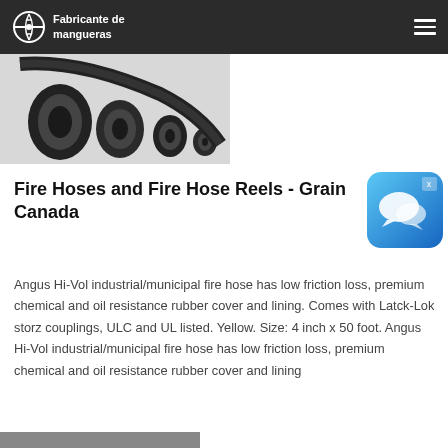Fabricante de mangueras
[Figure (photo): Several black rubber fire hoses of varying diameters shown end-on, arranged diagonally on a white background.]
Fire Hoses and Fire Hose Reels - Grain Canada
[Figure (other): Blue chat/messaging app icon widget with two speech bubbles, with an X close button in the top right corner.]
Angus Hi-Vol industrial/municipal fire hose has low friction loss, premium chemical and oil resistance rubber cover and lining. Comes with Latck-Lok storz couplings, ULC and UL listed. Yellow. Size: 4 inch x 50 foot. Angus Hi-Vol industrial/municipal fire hose has low friction loss, premium chemical and oil resistance rubber cover and lining